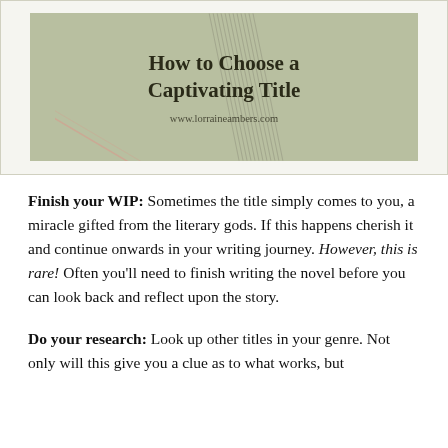[Figure (illustration): Blog post header image with sage/olive green background showing the text 'How to Choose a Captivating Title' in bold serif font, with a decorative spiral/pencil graphic overlay and the URL www.lorraineambers.com below.]
Finish your WIP: Sometimes the title simply comes to you, a miracle gifted from the literary gods. If this happens cherish it and continue onwards in your writing journey. However, this is rare! Often you'll need to finish writing the novel before you can look back and reflect upon the story.
Do your research: Look up other titles in your genre. Not only will this give you a clue as to what works, but